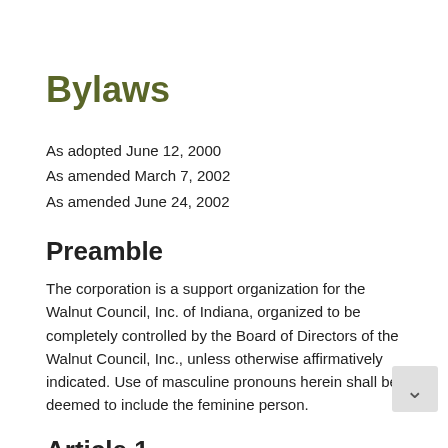Bylaws
As adopted June 12, 2000
As amended March 7, 2002
As amended June 24, 2002
Preamble
The corporation is a support organization for the Walnut Council, Inc. of Indiana, organized to be completely controlled by the Board of Directors of the Walnut Council, Inc., unless otherwise affirmatively indicated. Use of masculine pronouns herein shall be deemed to include the feminine person.
Article 1